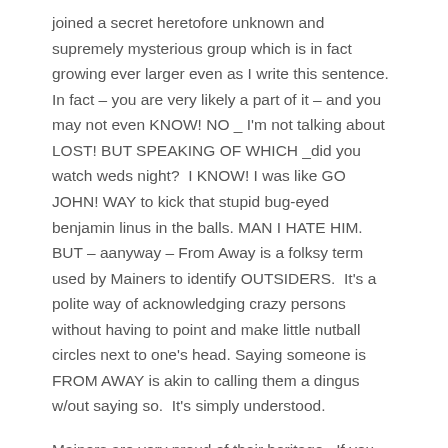joined a secret heretofore unknown and supremely mysterious group which is in fact growing ever larger even as I write this sentence.  In fact – you are very likely a part of it – and you may not even KNOW! NO _ I'm not talking about LOST! BUT SPEAKING OF WHICH _did you watch weds night?  I KNOW! I was like GO JOHN! WAY to kick that stupid bug-eyed benjamin linus in the balls. MAN I HATE HIM.  BUT – aanyway – From Away is a folksy term used by Mainers to identify OUTSIDERS.  It's a polite way of acknowledging crazy persons without having to point and make little nutball circles next to one's head. Saying someone is FROM AWAY is akin to calling them a dingus w/out saying so.  It's simply understood.
Mainers are very proud of their heritage.  If you were